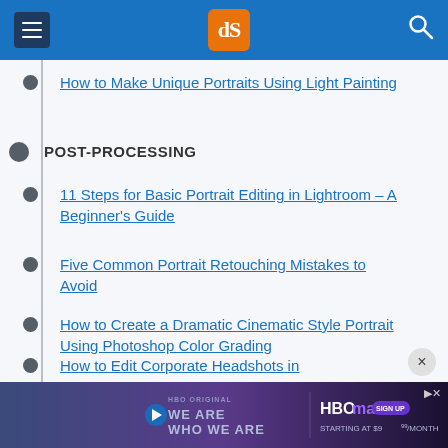dPS digital photography school navigation header
How to Make Unique Portraits Using Light Painting
POST-PROCESSING
11 Steps for Basic Portrait Editing in Lightroom – A Beginner's Guide
Five Common Portrait Retouching Mistakes to Avoid
How to Create a Dramatic Cinematic Style Portrait Using Photoshop Color Grading
How to Edit Corporate Headshots in
[Figure (screenshot): HBO Max advertisement banner: WE ARE WHO WE ARE, STARTING AT $9.99/MONTH SIGN UP]